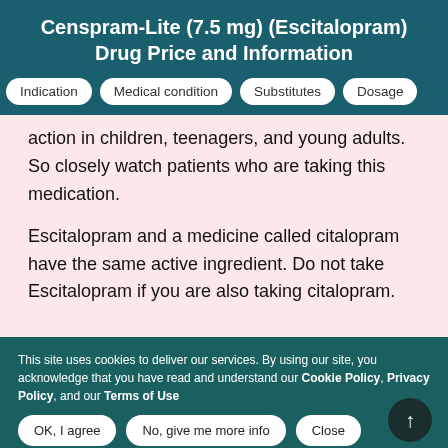Censpram-Lite (7.5 mg) (Escitalopram) Drug Price and Information
Indication
Medical condition
Substitutes
Dosage
action in children, teenagers, and young adults. So closely watch patients who are taking this medication.
Escitalopram and a medicine called citalopram have the same active ingredient. Do not take Escitalopram if you are also taking citalopram.
This site uses cookies to deliver our services. By using our site, you acknowledge that you have read and understand our Cookie Policy, Privacy Policy, and our Terms of Use